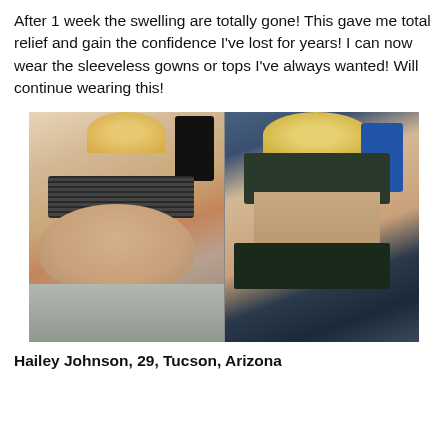After 1 week the swelling are totally gone! This gave me total relief and gain the confidence I've lost for years! I can now wear the sleeveless gowns or tops I've always wanted! Will continue wearing this!
[Figure (photo): Before and after comparison photos side by side. Left photo shows a woman with a larger belly in a striped bra and grey pants taking a mirror selfie. Right photo shows a slimmer woman in a dark sports bra and dark shorts taking a mirror selfie.]
Hailey Johnson, 29, Tucson, Arizona